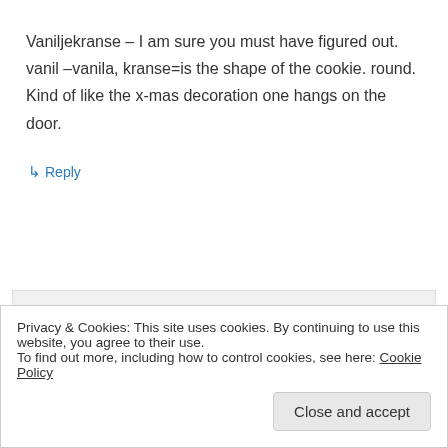Vaniljekranse – I am sure you must have figured out. vanil –vanila, kranse=is the shape of the cookie. round. Kind of like the x-mas decoration one hangs on the door.
↳ Reply
Alan (travellingfoodies) on December 8, 2012 at 11:34 pm
yes, its like a wreath 🙂 but thanks for
Privacy & Cookies: This site uses cookies. By continuing to use this website, you agree to their use.
To find out more, including how to control cookies, see here: Cookie Policy
Close and accept